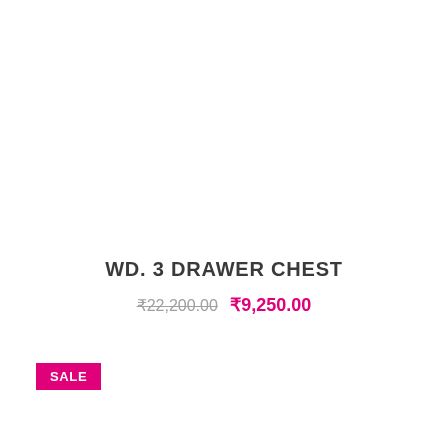WD. 3 DRAWER CHEST
₹22,200.00  ₹9,250.00
SALE